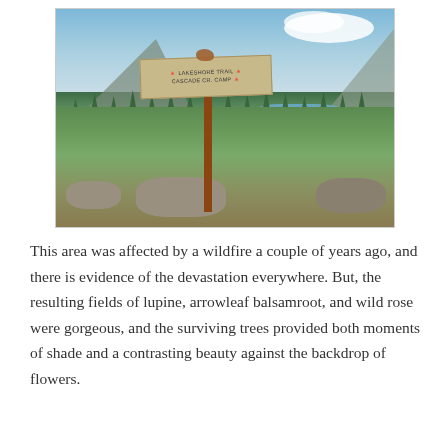[Figure (photo): Outdoor trail photo showing a wooden trail sign on a post reading 'LAKESHORE TRAIL / CASCADE CR. CAMP' with a lake, pine trees, mountains, and partly cloudy sky in the background. Rocks and green brush in the foreground. Area shows evidence of past wildfire with some burned trees.]
This area was affected by a wildfire a couple of years ago, and there is evidence of the devastation everywhere. But, the resulting fields of lupine, arrowleaf balsamroot, and wild rose were gorgeous, and the surviving trees provided both moments of shade and a contrasting beauty against the backdrop of flowers.